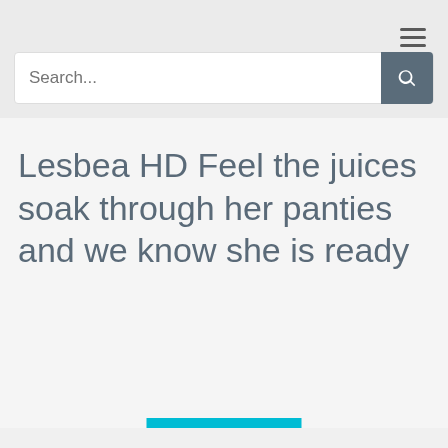☰
Search...
Lesbea HD Feel the juices soak through her panties and we know she is ready